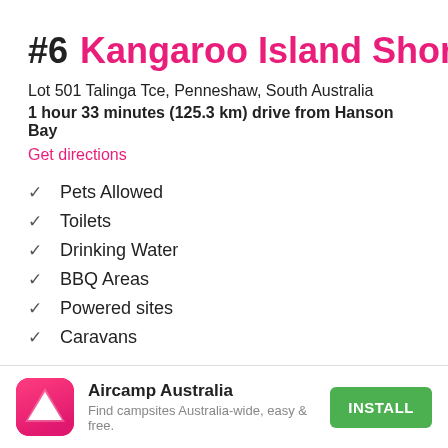#6 Kangaroo Island Shores
Lot 501 Talinga Tce, Penneshaw, South Australia
1 hour 33 minutes (125.3 km) drive from Hanson Bay
Get directions
✓ Pets Allowed
✓ Toilets
✓ Drinking Water
✓ BBQ Areas
✓ Powered sites
✓ Caravans
[Figure (logo): Aircamp Australia app icon — pink/red gradient rounded square with white triangle/tent icon]
Aircamp Australia
Find campsites Australia-wide, easy & free.
INSTALL